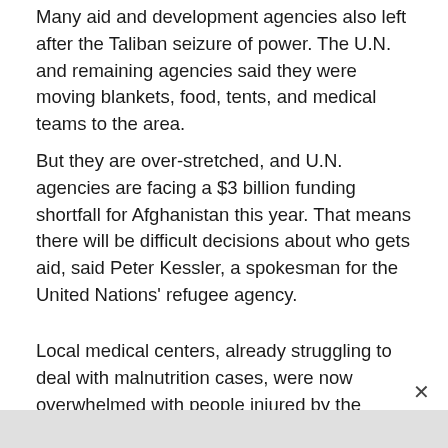Many aid and development agencies also left after the Taliban seizure of power. The U.N. and remaining agencies said they were moving blankets, food, tents, and medical teams to the area.
But they are over-stretched, and U.N. agencies are facing a $3 billion funding shortfall for Afghanistan this year. That means there will be difficult decisions about who gets aid, said Peter Kessler, a spokesman for the United Nations' refugee agency.
Local medical centers, already struggling to deal with malnutrition cases, were now overwhelmed with people injured by the quake, said Adnan Junaid, the International Rescue Committee vice president for Asia.